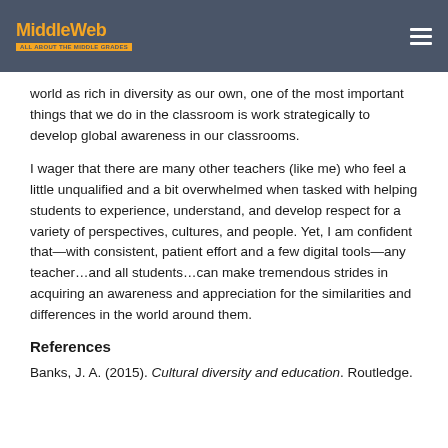MiddleWeb
world as rich in diversity as our own, one of the most important things that we do in the classroom is work strategically to develop global awareness in our classrooms.
I wager that there are many other teachers (like me) who feel a little unqualified and a bit overwhelmed when tasked with helping students to experience, understand, and develop respect for a variety of perspectives, cultures, and people. Yet, I am confident that—with consistent, patient effort and a few digital tools—any teacher…and all students…can make tremendous strides in acquiring an awareness and appreciation for the similarities and differences in the world around them.
References
Banks, J. A. (2015). Cultural diversity and education. Routledge.